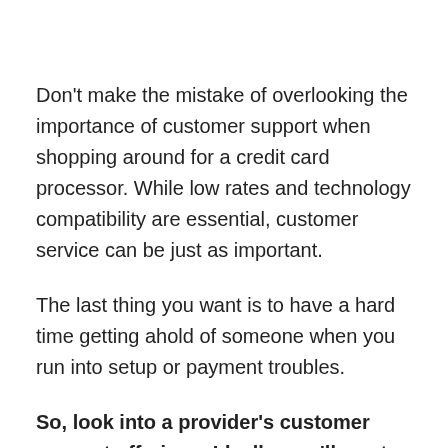Don't make the mistake of overlooking the importance of customer support when shopping around for a credit card processor. While low rates and technology compatibility are essential, customer service can be just as important.
The last thing you want is to have a hard time getting ahold of someone when you run into setup or payment troubles.
So, look into a provider's customer support offerings. Ideally, you'll want a payments